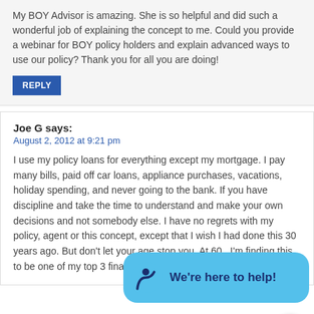My BOY Advisor is amazing. She is so helpful and did such a wonderful job of explaining the concept to me. Could you provide a webinar for BOY policy holders and explain advanced ways to use our policy? Thank you for all you are doing!
REPLY
Joe G says:
August 2, 2012 at 9:21 pm
I use my policy loans for everything except my mortgage. I pay many bills, paid off car loans, appliance purchases, vacations, holiday spendi... bank. If you have disciplin... understand and make yo... somebody else. I have no regrets with my policy, agent or this concept, except that I wish I had done this 30 y... ago. But don't let your age stop you. At 60 , I'm fin... this to be one of my top 3 financial decisions of my life.
[Figure (other): Chat widget overlay with blue rounded bubble showing 'We're here to help!' text with a figure/person icon, and a circular white chat button below it.]